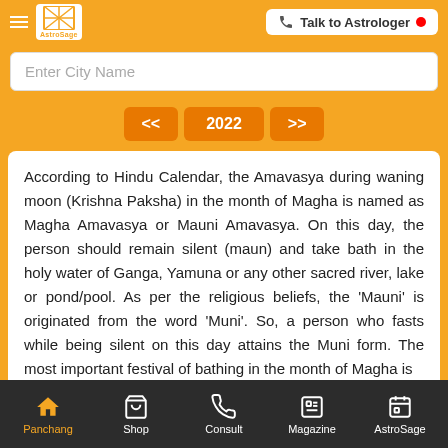AstroSage - Talk to Astrologer
Enter City Name
<< 2022 >>
According to Hindu Calendar, the Amavasya during waning moon (Krishna Paksha) in the month of Magha is named as Magha Amavasya or Mauni Amavasya. On this day, the person should remain silent (maun) and take bath in the holy water of Ganga, Yamuna or any other sacred river, lake or pond/pool. As per the religious beliefs, the 'Mauni' is originated from the word 'Muni'. So, a person who fasts while being silent on this day attains the Muni form. The most important festival of bathing in the month of Magha is
Panchang  Shop  Consult  Magazine  AstroSage